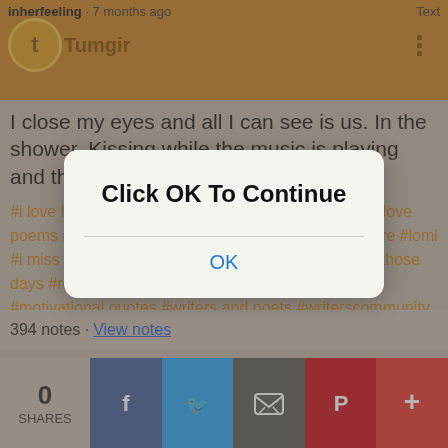inherfeeling · 7 months ago   Text
Tumgir
I close my eyes and all I can see is us. In the shower. Kissing while the music is playing and the water is running down on us.
#i love him #thoughts of mine #love quotes #lovers #love poems #writing #swirlsonmiblog #i wish you were here #loml #i miss you so much #i missed you so much #i miss those days #romantic #kissing #short poems #thoughts #motivational quotes #writers and poets #writerscommunity
[Figure (screenshot): Modal dialog popup on screen showing 'Click OK To Continue' with an OK button]
394 notes · View notes
0 SHARES | Facebook | Twitter | Email | Pinterest | More